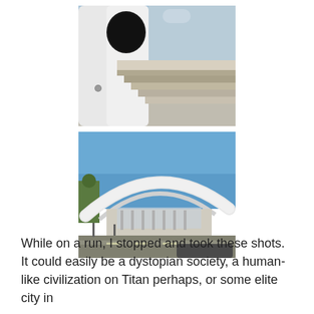[Figure (photo): Close-up architectural photo of a modern white building with large circular openings/porthole features and concrete stairs, shot from a low angle against a blue sky.]
[Figure (photo): Wide exterior shot of a futuristic modern building with a sweeping curved white shell roof resembling a crescent or bird wing, surrounded by trees and a road in the foreground under a clear blue sky.]
While on a run, I stopped and took these shots. It could easily be a dystopian society, a human-like civilization on Titan perhaps, or some elite city in